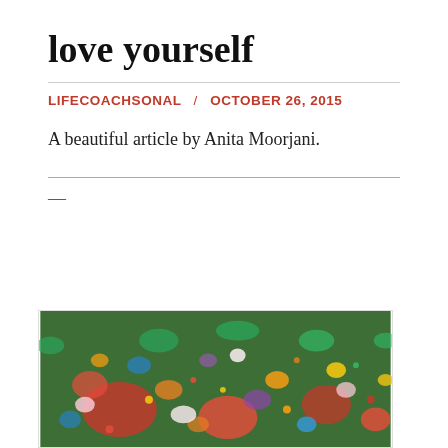love yourself
LIFECOACHSONAL / OCTOBER 26, 2015
A beautiful article by Anita Moorjani.
[Figure (photo): A dense wall of colorful flowers including red, orange, yellow, blue, white, and green foliage filling the entire frame.]